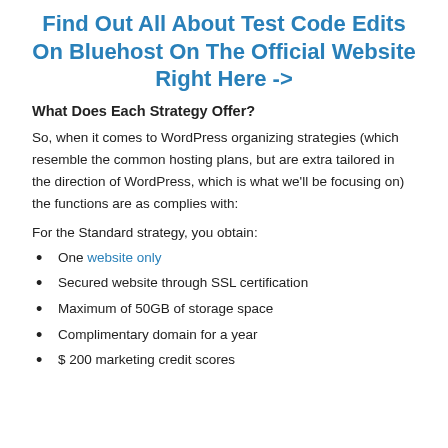Find Out All About Test Code Edits On Bluehost On The Official Website Right Here ->
What Does Each Strategy Offer?
So, when it comes to WordPress organizing strategies (which resemble the common hosting plans, but are extra tailored in the direction of WordPress, which is what we’ll be focusing on) the functions are as complies with:
For the Standard strategy, you obtain:
One website only
Secured website through SSL certification
Maximum of 50GB of storage space
Complimentary domain for a year
$ 200 marketing credit scores